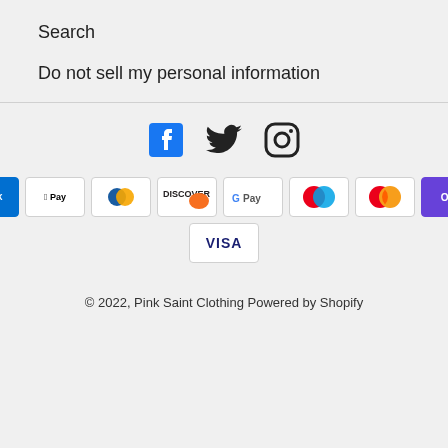Search
Do not sell my personal information
[Figure (logo): Social media icons: Facebook, Twitter, Instagram]
[Figure (logo): Payment method icons: American Express, Apple Pay, Diners Club, Discover, Google Pay, Maestro, Mastercard, OPay, Visa]
© 2022, Pink Saint Clothing Powered by Shopify